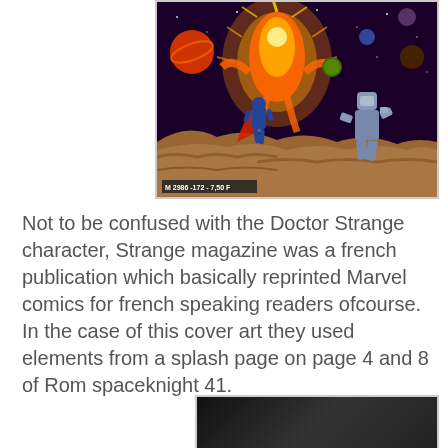[Figure (illustration): Cover art of Strange magazine showing a glowing fiery humanoid figure in space surrounded by planets, with two characters (one in blue and red cape, one metallic silver robot-like figure) on an orange rocky surface. Label 'M 2986 -172 - 7,50 F' visible at bottom left of image.]
Not to be confused with the Doctor Strange character, Strange magazine was a french publication which basically reprinted Marvel comics for french speaking readers ofcourse. In the case of this cover art they used elements from a splash page on page 4 and 8 of Rom spaceknight 41.
[Figure (photo): Partial photo at bottom of page, appears dark/dim showing some figures.]